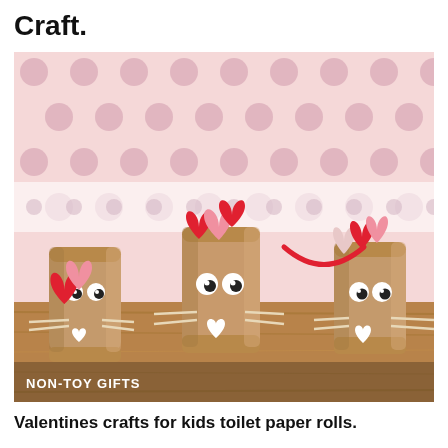Craft.
[Figure (photo): Three toilet paper roll animals decorated with googly eyes, paper heart ears in red and pink, white paper strip whiskers, and small white heart noses, arranged on a wooden surface with a pink polka dot background. Watermark reads NON-TOY GIFTS.]
Valentines crafts for kids toilet paper rolls.